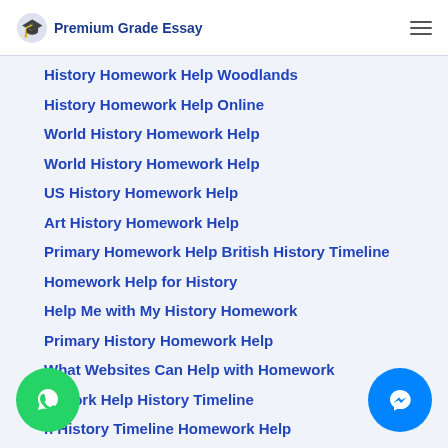Premium Grade Essay
History Homework Help Woodlands
History Homework Help Online
World History Homework Help
World History Homework Help
US History Homework Help
Art History Homework Help
Primary Homework Help British History Timeline
Homework Help for History
Help Me with My History Homework
Primary History Homework Help
What Websites Can Help with Homework
nework Help History Timeline
h History Timeline Homework Help
p with History Homeworkp